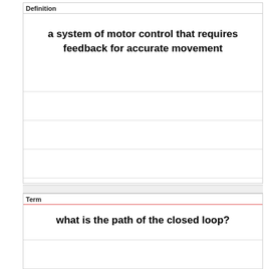Definition
a system of motor control that requires feedback for accurate movement
Term
what is the path of the closed loop?